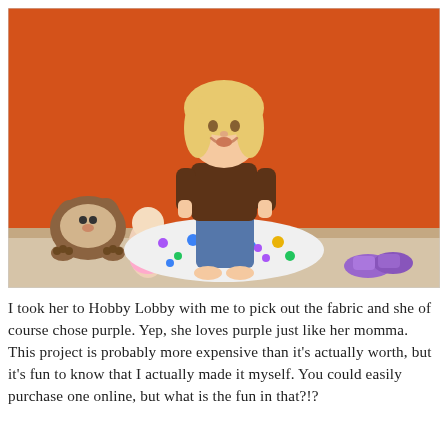[Figure (photo): A young blonde girl sitting on a colorful polka-dot cylindrical pillow/cushion against an orange wall. She is wearing a brown top and jeans, smiling. To her left are stuffed toys and a baby doll. To her right are small purple shoes. Hardwood floor with baseboard visible.]
I took her to Hobby Lobby with me to pick out the fabric and she of course chose purple. Yep, she loves purple just like her momma. This project is probably more expensive than it's actually worth, but it's fun to know that I actually made it myself. You could easily purchase one online, but what is the fun in that?!?